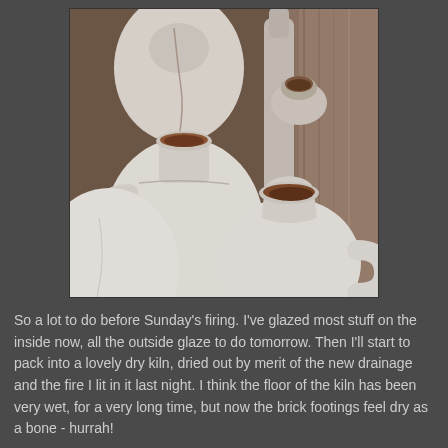[Figure (photo): A photograph of several white-glazed ceramic pottery jugs and vessels grouped together. The interiors show terracotta brown clay. The pieces appear unfired or bisque-fired, with white slip or glaze applied to the outside.]
So a lot to do before Sunday's firing. I've glazed most stuff on the inside now, all the outside glaze to do tomorrow. Then I'll start to pack into a lovely dry kiln, dried out by merit of the new drainage and the fire I lit in it last night. I think the floor of the kiln has been very wet, for a very long time, but now the brick footings feel dry as a bone - hurrah!